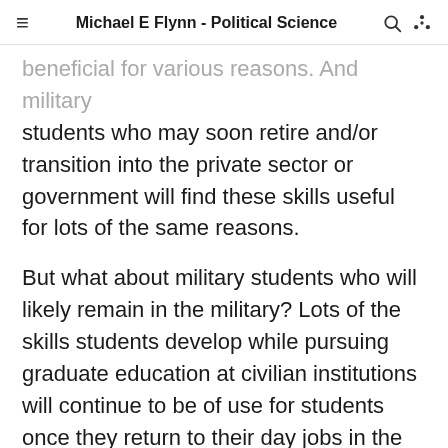Michael E Flynn - Political Science
beneficial for various reasons. And military students who may soon retire and/or transition into the private sector or government will find these skills useful for lots of the same reasons.
But what about military students who will likely remain in the military? Lots of the skills students develop while pursuing graduate education at civilian institutions will continue to be of use for students once they return to their day jobs in the military. Often the questions that motivate these students